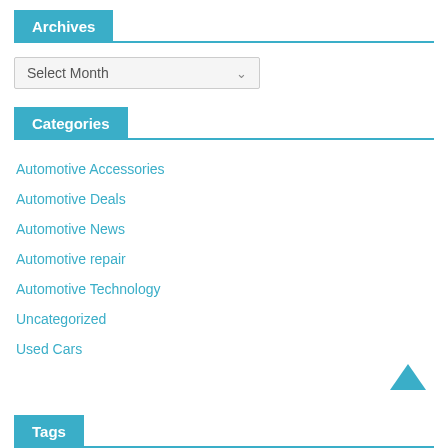Archives
Select Month
Categories
Automotive Accessories
Automotive Deals
Automotive News
Automotive repair
Automotive Technology
Uncategorized
Used Cars
[Figure (other): Back to top chevron arrow icon in teal/blue color]
Tags